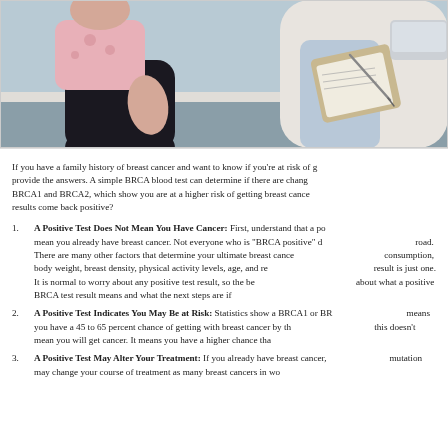[Figure (photo): Photo of a patient (woman in black pants) sitting on an exam table with a doctor or healthcare provider taking notes on a clipboard in the background.]
If you have a family history of breast cancer and want to know if you're at risk of getting it, genetic testing can provide the answers. A simple BRCA blood test can determine if there are changes in your genes, specifically BRCA1 and BRCA2, which show you are at a higher risk of getting breast cancer. But what happens if your results come back positive?
A Positive Test Does Not Mean You Have Cancer: First, understand that a positive test result does not mean you already have breast cancer. Not everyone who is "BRCA positive" develops cancer down the road. There are many other factors that determine your ultimate breast cancer risk, including alcohol consumption, body weight, breast density, physical activity levels, age, and reproductive history. A BRCA result is just one. It is normal to worry about any positive test result, so the best thing you can do is learn about what a positive BRCA test result means and what the next steps are if you get one.
A Positive Test Indicates You May Be at Risk: Statistics show a BRCA1 or BRCA2 gene mutation means you have a 45 to 65 percent chance of getting with breast cancer by the age of 70. However, this doesn't mean you will get cancer. It means you have a higher chance than average.
A Positive Test May Alter Your Treatment: If you already have breast cancer, having a BRCA mutation may change your course of treatment as many breast cancers in wo...